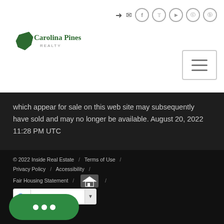[Figure (logo): Carolina Pines Realty logo with stylized South Carolina map icon in dark green]
[Figure (infographic): Social media and navigation icons: sign-in arrow, mail envelope, Facebook, Twitter, YouTube, Instagram, Pinterest circles, plus hamburger menu button]
which appear for sale on this web site may subsequently have sold and may no longer be available. August 20, 2022 11:28 PM UTC
© 2022 Inside Real Estate / Terms of Use / Privacy Policy / Accessibility / Fair Housing Statement / [Equal Housing Logo] / Select Language ▼